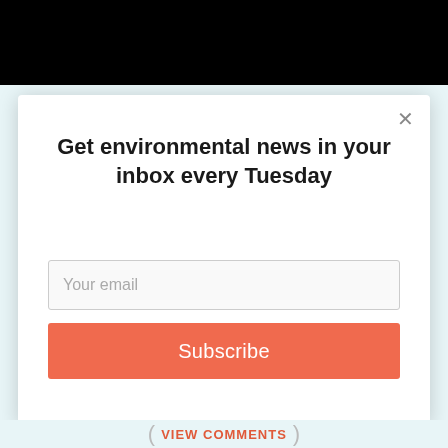[Figure (screenshot): Black rectangular image/banner at the top of the page]
Get environmental news in your inbox every Tuesday
[Figure (screenshot): Email subscription modal with email input field, Subscribe button, close X button, and AddThis branding]
VIEW COMMENTS